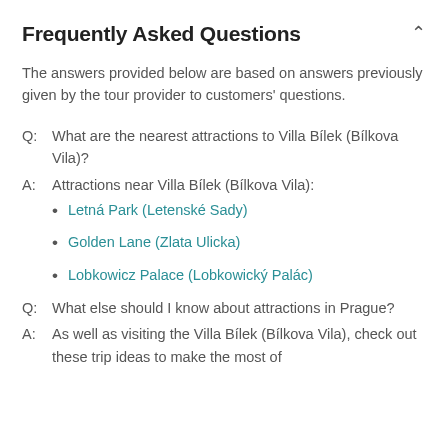Frequently Asked Questions
The answers provided below are based on answers previously given by the tour provider to customers' questions.
Q:  What are the nearest attractions to Villa Bílek (Bílkova Vila)?
A:  Attractions near Villa Bílek (Bílkova Vila):
Letná Park (Letenské Sady)
Golden Lane (Zlata Ulicka)
Lobkowicz Palace (Lobkowický Palác)
Q:  What else should I know about attractions in Prague?
A:  As well as visiting the Villa Bílek (Bílkova Vila), check out these trip ideas to make the most of